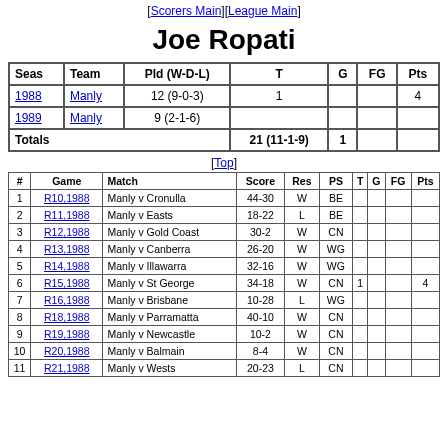[Scorers Main][League Main]
Joe Ropati
| Seas | Team | Pld (W-D-L) | T | G | FG | Pts |
| --- | --- | --- | --- | --- | --- | --- |
| 1988 | Manly | 12 (9-0-3) | 1 |  |  | 4 |
| 1989 | Manly | 9 (2-1-6) |  |  |  |  |
| Totals |  | 21 (11-1-9) | 1 |  |  | 4 |
[Top]
| # | Game | Match | Score | Res | PS | T | G | FG | Pts |
| --- | --- | --- | --- | --- | --- | --- | --- | --- | --- |
| 1 | R10,1988 | Manly v Cronulla | 44-30 | W | BE |  |  |  |  |
| 2 | R11,1988 | Manly v Easts | 18-22 | L | BE |  |  |  |  |
| 3 | R12,1988 | Manly v Gold Coast | 30-2 | W | CN |  |  |  |  |
| 4 | R13,1988 | Manly v Canberra | 26-20 | W | WG |  |  |  |  |
| 5 | R14,1988 | Manly v Illawarra | 32-16 | W | WG |  |  |  |  |
| 6 | R15,1988 | Manly v St George | 34-18 | W | CN | 1 |  |  | 4 |
| 7 | R16,1988 | Manly v Brisbane | 10-28 | L | WG |  |  |  |  |
| 8 | R18,1988 | Manly v Parramatta | 40-10 | W | CN |  |  |  |  |
| 9 | R19,1988 | Manly v Newcastle | 10-2 | W | CN |  |  |  |  |
| 10 | R20,1988 | Manly v Balmain | 8-4 | W | CN |  |  |  |  |
| 11 | R21,1988 | Manly v Wests | 20-23 | L | CN |  |  |  |  |